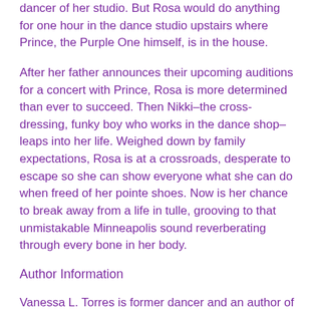dancer of her studio. But Rosa would do anything for one hour in the dance studio upstairs where Prince, the Purple One himself, is in the house.
After her father announces their upcoming auditions for a concert with Prince, Rosa is more determined than ever to succeed. Then Nikki–the cross-dressing, funky boy who works in the dance shop–leaps into her life. Weighed down by family expectations, Rosa is at a crossroads, desperate to escape so she can show everyone what she can do when freed of her pointe shoes. Now is her chance to break away from a life in tulle, grooving to that unmistakable Minneapolis sound reverberating through every bone in her body.
Author Information
Vanessa L. Torres is former dancer and an author of books for young readers. She loves to read anything with a vivid setting, but there's a special place in her heart for urban tales. She was born and raised in Minneapolis Minnesota, and now lives in Olympia Washington with her husband and daughter. When she's not writing, she balances her time